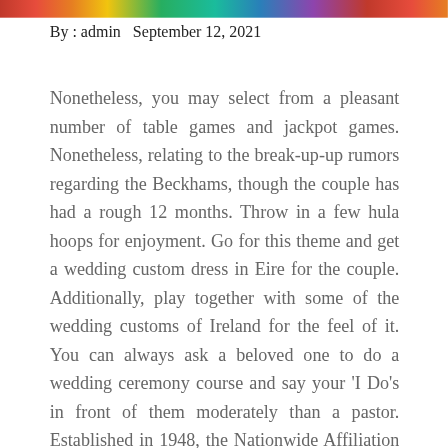[Figure (photo): Decorative image strip at the top of the page with colorful pattern]
By : admin   September 12, 2021
Nonetheless, you may select from a pleasant number of table games and jackpot games. Nonetheless, relating to the break-up-up rumors regarding the Beckhams, though the couple has had a rough 12 months. Throw in a few hula hoops for enjoyment. Go for this theme and get a wedding custom dress in Eire for the couple. Additionally, play together with some of the wedding customs of Ireland for the feel of it. You can always ask a beloved one to do a wedding ceremony course and say your 'I Do's in front of them moderately than a pastor. Established in 1948, the Nationwide Affiliation fordemokraty Goaclato Dacint